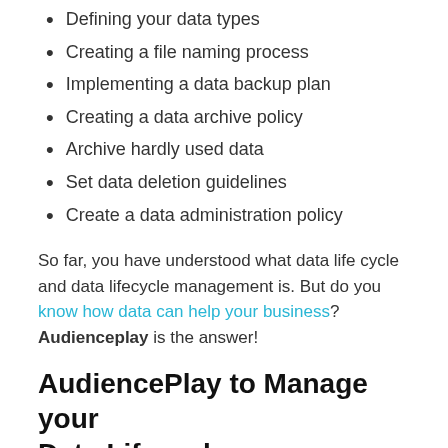Defining your data types
Creating a file naming process
Implementing a data backup plan
Creating a data archive policy
Archive hardly used data
Set data deletion guidelines
Create a data administration policy
So far, you have understood what data life cycle and data lifecycle management is. But do you know how data can help your business? Audienceplay is the answer!
AudiencePlay to Manage your Data Lifecycle
Data is the prime source of advertising and marketing. AudiencePlay platform is an audience platform where